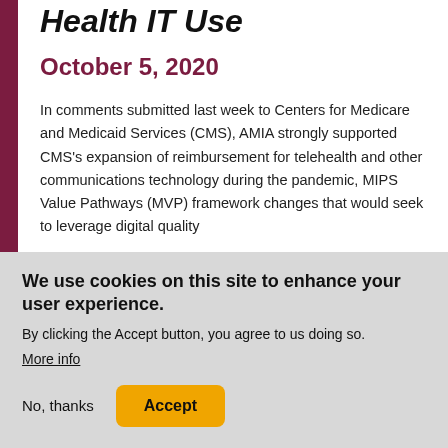Health IT Use
October 5, 2020
In comments submitted last week to Centers for Medicare and Medicaid Services (CMS), AMIA strongly supported CMS's expansion of reimbursement for telehealth and other communications technology during the pandemic, MIPS Value Pathways (MVP) framework changes that would seek to leverage digital quality
We use cookies on this site to enhance your user experience.
By clicking the Accept button, you agree to us doing so.
More info
No, thanks
Accept